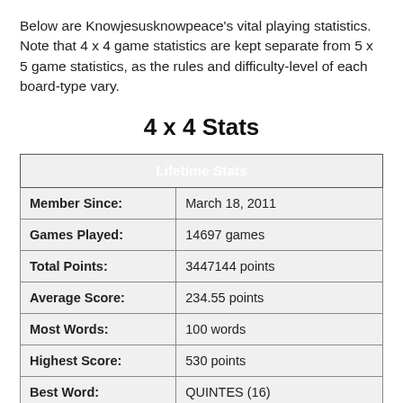Below are Knowjesusknowpeace's vital playing statistics. Note that 4 x 4 game statistics are kept separate from 5 x 5 game statistics, as the rules and difficulty-level of each board-type vary.
4 x 4 Stats
| Lifetime Stats |
| --- |
| Member Since: | March 18, 2011 |
| Games Played: | 14697 games |
| Total Points: | 3447144 points |
| Average Score: | 234.55 points |
| Most Words: | 100 words |
| Highest Score: | 530 points |
| Best Word: | QUINTES (16) |